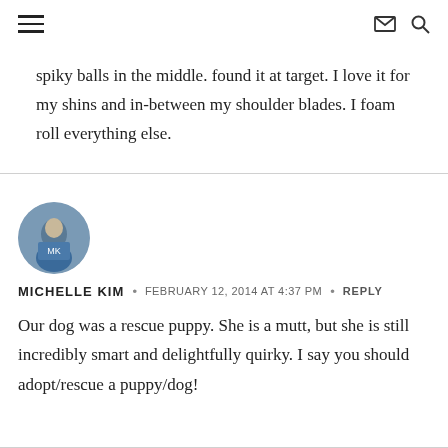spiky balls in the middle. found it at target. I love it for my shins and in-between my shoulder blades. I foam roll everything else.
MICHELLE KIM · FEBRUARY 12, 2014 AT 4:37 PM · REPLY
Our dog was a rescue puppy. She is a mutt, but she is still incredibly smart and delightfully quirky. I say you should adopt/rescue a puppy/dog!